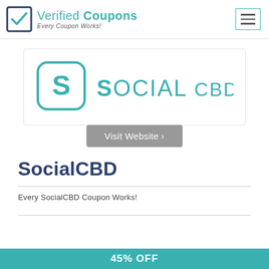Verified Coupons — Every Coupon Works!
[Figure (logo): Social CBD logo — rounded square with letter S in teal, text SOCIAL CBD in teal]
Visit Website ›
SocialCBD
Every SocialCBD Coupon Works!
[Figure (other): Teal coupon bar at bottom showing partial text '45% OFF']